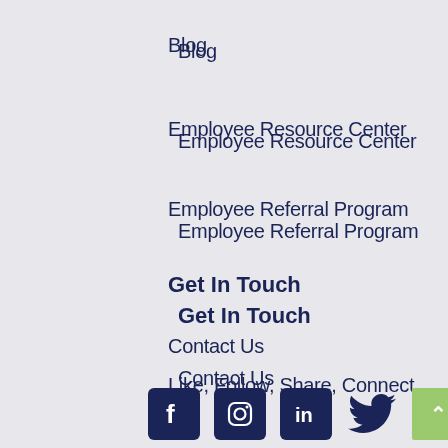Blog
Employee Resource Center
Employee Referral Program
Get In Touch
Contact Us
Like, Follow, Share, Connect.
[Figure (infographic): Row of social media icons: Facebook, Instagram, LinkedIn, Twitter (all dark navy), and a green scroll-to-top button with an up arrow.]